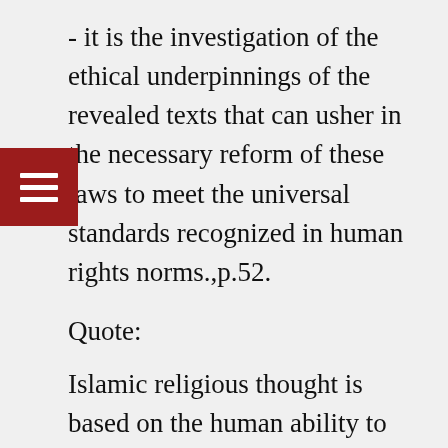- it is the investigation of the ethical underpinnings of the revealed texts that can usher in the necessary reform of these laws to meet the universal standards recognized in human rights norms.,p.52.
Quote:
Islamic religious thought is based on the human ability to know right from wrong. Through God's special endowment for all of humanity, each and every person on earth is endowed with a nature (fit:ra), the receptacle for intuitive reason, that guides humanity to its spiritual and moral well-being. On this notion of divine endowment, moral cognition is innate to human nature and gives